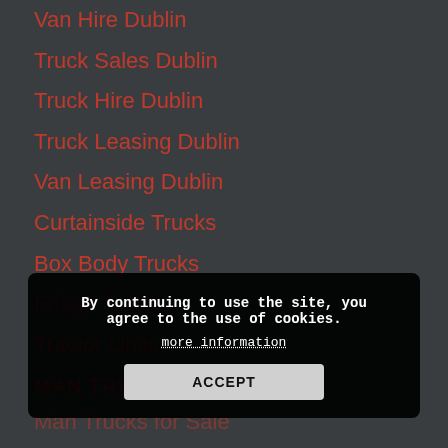Van Hire Dublin
Truck Sales Dublin
Truck Hire Dublin
Truck Leasing Dublin
Van Leasing Dublin
Curtainside Trucks
Box Body Trucks
Fridge Trucks
Tractor Units
MAN TRUCKS
Man Trucks for Sale
MAN
MAN TGM
By continuing to use the site, you agree to the use of cookies.
more information
ACCEPT